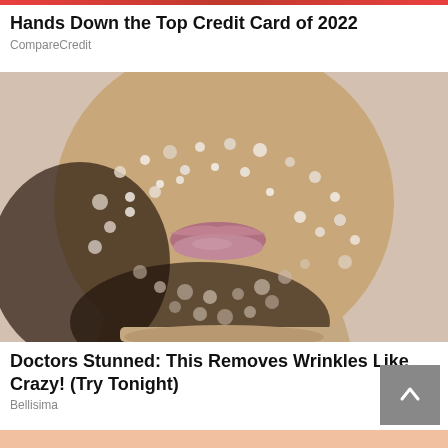Hands Down the Top Credit Card of 2022
CompareCredit
[Figure (photo): Close-up photo of a person's face covered in sugar/salt crystals on the skin and beard area, with lips visible, on a light background.]
Doctors Stunned: This Removes Wrinkles Like Crazy! (Try Tonight)
Bellisima